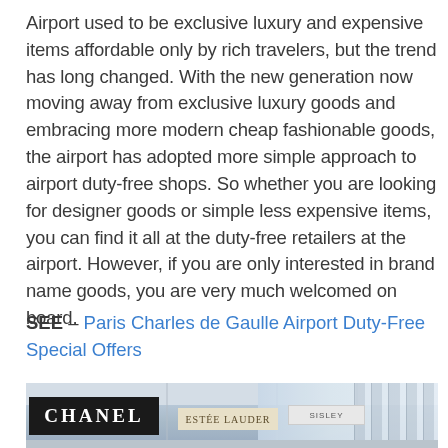Airport used to be exclusive luxury and expensive items affordable only by rich travelers, but the trend has long changed. With the new generation now moving away from exclusive luxury goods and embracing more modern cheap fashionable goods, the airport has adopted more simple approach to airport duty-free shops. So whether you are looking for designer goods or simple less expensive items, you can find it all at the duty-free retailers at the airport. However, if you are only interested in brand name goods, you are very much welcomed on board.
SEE – Paris Charles de Gaulle Airport Duty-Free Special Offers
[Figure (photo): Interior of an airport duty-free shopping area showing a large black CHANEL sign in the foreground, with other luxury brand signs (including what appears to be Estee Lauder) visible in the background, along with large windows with horizontal blinds and ceiling panels.]